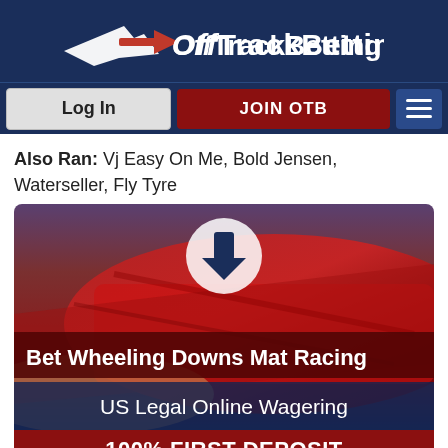OffTrackBetting
Also Ran: Vj Easy On Me, Bold Jensen, Waterseller, Fly Tyre
[Figure (photo): Advertisement banner for OffTrackBetting showing a red racing cloth/flag in the background with a download arrow icon, text 'Bet Wheeling Downs Mat Racing', 'US Legal Online Wagering', and '100% FIRST DEPOSIT MATCH']